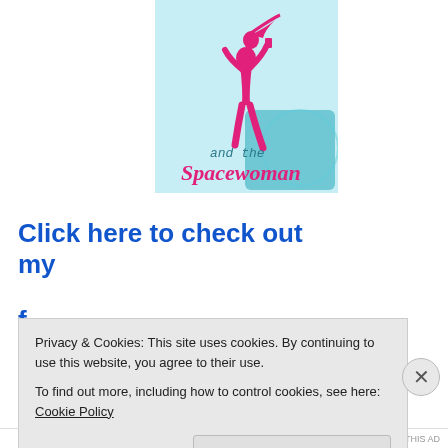[Figure (illustration): Book cover showing a pink female silhouette figure holding something aloft, with light blue background and teal decorative elements. Title text reads 'Harlowe and the Spacewoman' in pink stylized font.]
Click here to check out my
f......
Privacy & Cookies: This site uses cookies. By continuing to use this website, you agree to their use.
To find out more, including how to control cookies, see here: Cookie Policy
Close and accept